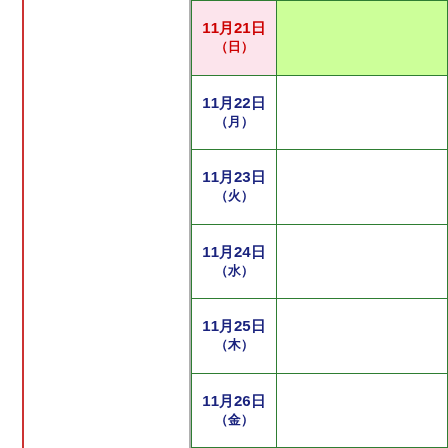| 日付 | 内容 |
| --- | --- |
| 11月21日（日） |  |
| 11月22日（月） |  |
| 11月23日（火） |  |
| 11月24日（水） |  |
| 11月25日（木） |  |
| 11月26日（金） |  |